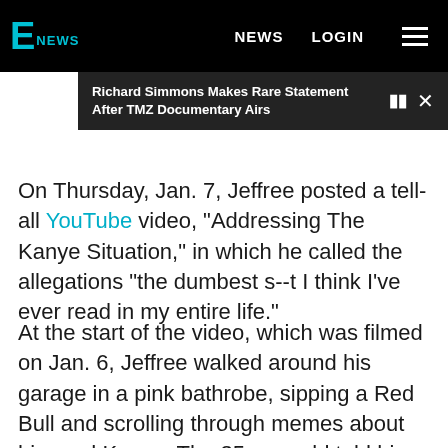E NEWS | NEWS | LOGIN
Richard Simmons Makes Rare Statement After TMZ Documentary Airs
On Thursday, Jan. 7, Jeffree posted a tell-all YouTube video, "Addressing The Kanye Situation," in which he called the allegations "the dumbest s--t I think I've ever read in my entire life."
At the start of the video, which was filmed on Jan. 6, Jeffree walked around his garage in a pink bathrobe, sipping a Red Bull and scrolling through memes about him and Kanye. The 35 year old told his cameraman, "I woke up and my phone was blowing up and I'm like, 'Oh my God, what in the